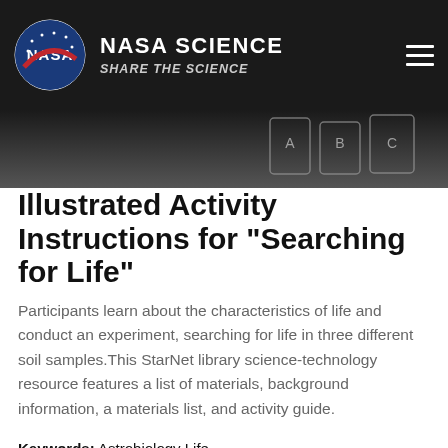NASA SCIENCE SHARE THE SCIENCE
[Figure (photo): Hero image showing three glass beakers or containers with labels A, B, C containing soil samples, on a dark background]
Illustrated Activity Instructions for "Searching for Life"
Participants learn about the characteristics of life and conduct an experiment, searching for life in three different soil samples.This StarNet library science-technology resource features a list of materials, background information, a materials list, and activity guide.
Keywords: Astrobiology Life
Audience: Informal education, Elementary school programming, Families, Middle school programming
Topic: Life sciences, Astrobiology, The nature